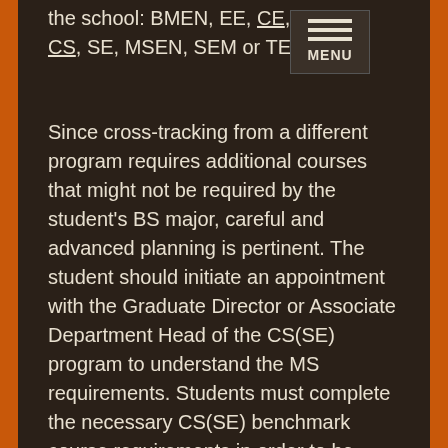the school: BMEN, EE, CE, CS, SE, MSEN, SEM or TE.
[Figure (other): Navigation menu button with three horizontal lines and the word MENU]
Since cross-tracking from a different program requires additional courses that might not be required by the student's BS major, careful and advanced planning is pertinent. The student should initiate an appointment with the Graduate Director or Associate Department Head of the CS(SE) program to understand the MS requirements. Students must complete the necessary CS(SE) benchmark course requirements in order to be eligible for admission into the CS(SE) Fast Track program. If a student is accepted into a Fast Track program but decides to change the program, he/she must reapply for admission to the new program. Students planning to cross-track should select MS courses from the list of prerequisites and core courses for their